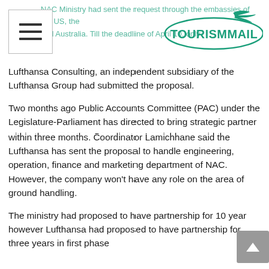NAC Ministry had sent the request through the embassies of the US, the... and Australia. Till the deadline of April 10, only [TOURISMMAIL logo]
Lufthansa Consulting, an independent subsidiary of the Lufthansa Group had submitted the proposal.
Two months ago Public Accounts Committee (PAC) under the Legislature-Parliament has directed to bring strategic partner within three months. Coordinator Lamichhane said the Lufthansa has sent the proposal to handle engineering, operation, finance and marketing department of NAC. However, the company won't have any role on the area of ground handling.
The ministry had proposed to have partnership for 10 year however Lufthansa had proposed to have partnership for three years in first phase